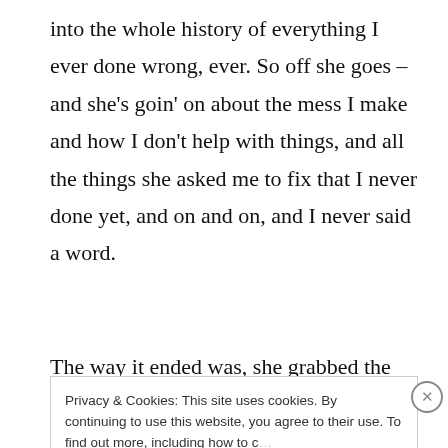into the whole history of everything I ever done wrong, ever. So off she goes – and she's goin' on about the mess I make and how I don't help with things, and all the things she asked me to fix that I never done yet, and on and on, and I never said a word.
The way it ended was, she grabbed the keys
Privacy & Cookies: This site uses cookies. By continuing to use this website, you agree to their use. To find out more, including how to c… see here: Cookie Policy